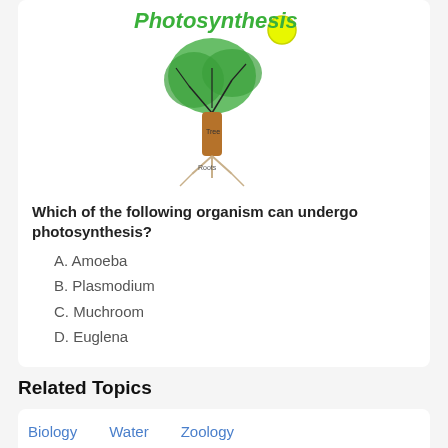[Figure (illustration): Hand-drawn illustration of a tree with green leafy top, brown trunk labeled 'Tree', and roots labeled 'Roots', with yellow sun. Text 'Photosynthesis' written in green above.]
Which of the following organism can undergo photosynthesis?
A.  Amoeba
B.  Plasmodium
C.  Muchroom
D.  Euglena
Related Topics
Biology   Water   Zoology